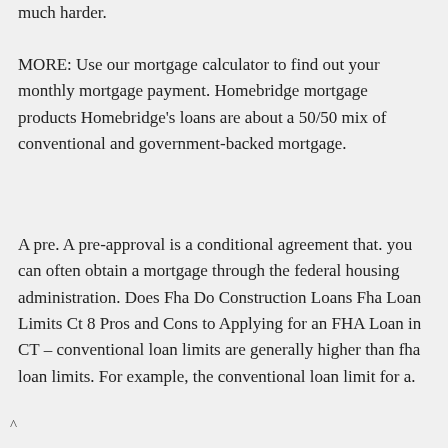much harder.
MORE: Use our mortgage calculator to find out your monthly mortgage payment. Homebridge mortgage products Homebridge’s loans are about a 50/50 mix of conventional and government-backed mortgage.
A pre. A pre-approval is a conditional agreement that. you can often obtain a mortgage through the federal housing administration. Does Fha Do Construction Loans Fha Loan Limits Ct 8 Pros and Cons to Applying for an FHA Loan in CT – conventional loan limits are generally higher than fha loan limits. For example, the conventional loan limit for a.
^